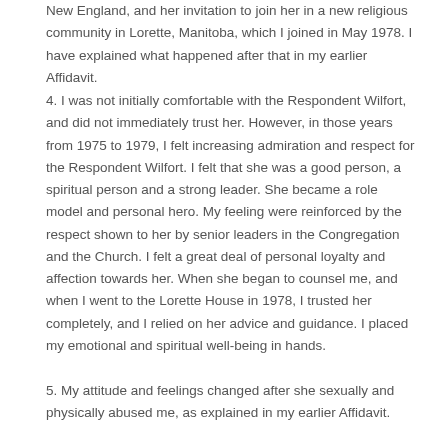New England, and her invitation to join her in a new religious community in Lorette, Manitoba, which I joined in May 1978. I have explained what happened after that in my earlier Affidavit.
4. I was not initially comfortable with the Respondent Wilfort, and did not immediately trust her. However, in those years from 1975 to 1979, I felt increasing admiration and respect for the Respondent Wilfort. I felt that she was a good person, a spiritual person and a strong leader. She became a role model and personal hero. My feeling were reinforced by the respect shown to her by senior leaders in the Congregation and the Church. I felt a great deal of personal loyalty and affection towards her. When she began to counsel me, and when I went to the Lorette House in 1978, I trusted her completely, and I relied on her advice and guidance. I placed my emotional and spiritual well-being in hands.
5. My attitude and feelings changed after she sexually and physically abused me, as explained in my earlier Affidavit.